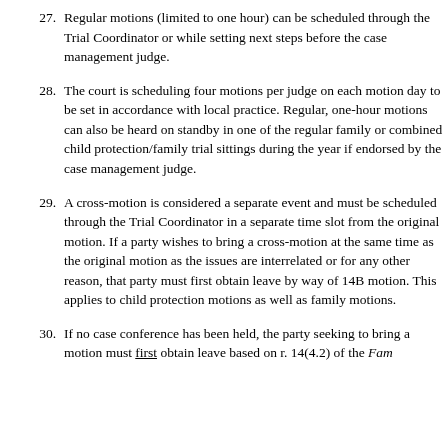27. Regular motions (limited to one hour) can be scheduled through the Trial Coordinator or while setting next steps before the case management judge.
28. The court is scheduling four motions per judge on each motion day to be set in accordance with local practice. Regular, one-hour motions can also be heard on standby in one of the regular family or combined child protection/family trial sittings during the year if endorsed by the case management judge.
29. A cross-motion is considered a separate event and must be scheduled through the Trial Coordinator in a separate time slot from the original motion. If a party wishes to bring a cross-motion at the same time as the original motion as the issues are interrelated or for any other reason, that party must first obtain leave by way of 14B motion. This applies to child protection motions as well as family motions.
30. If no case conference has been held, the party seeking to bring a motion must first obtain leave based on r. 14(4.2) of the Fam